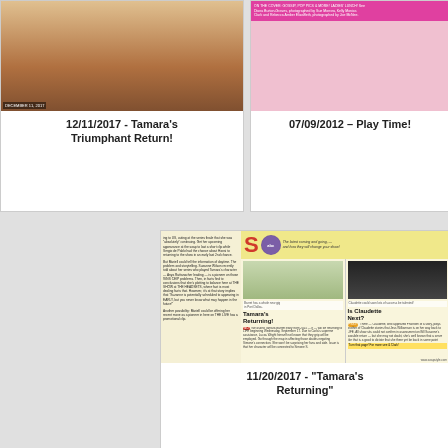[Figure (photo): Top left card with image and date. Shows 12/11/2017 - Tamara's Triumphant Return!]
12/11/2017 - Tamara's Triumphant Return!
[Figure (photo): Top right card with pink magazine cover image. Shows 07/09/2012 - Play Time!]
07/09/2012 – Play Time!
[Figure (photo): Bottom center card with scanned magazine article showing 'Tamara's Returning?' and 'Is Claudette Next?' with ABC logo.]
11/20/2017 - "Tamara's Returning"